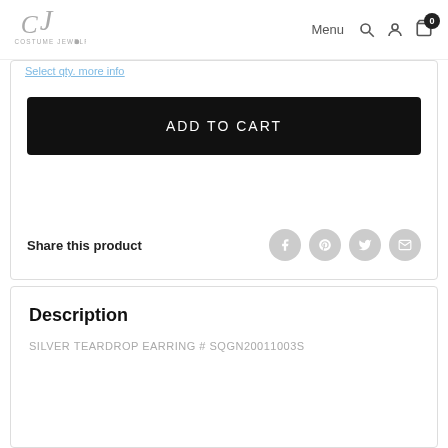COSTUME JEWELRY | Menu
Share this product
Description
SILVER TEARDROP EARRING # SQGN20011003S